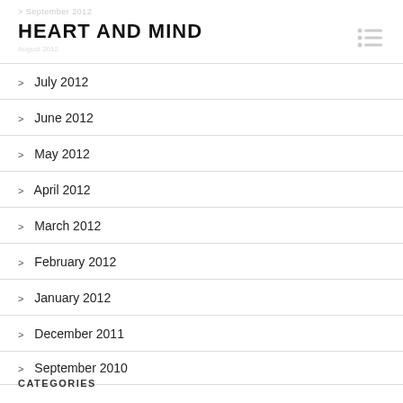September 2012
HEART AND MIND
July 2012
June 2012
May 2012
April 2012
March 2012
February 2012
January 2012
December 2011
September 2010
CATEGORIES